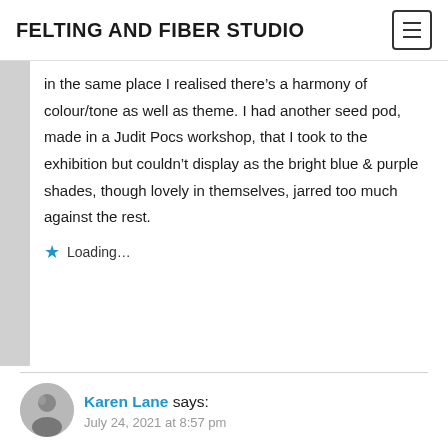FELTING AND FIBER STUDIO
in the same place I realised there’s a harmony of colour/tone as well as theme. I had another seed pod, made in a Judit Pocs workshop, that I took to the exhibition but couldn’t display as the bright blue & purple shades, though lovely in themselves, jarred too much against the rest.
Loading…
Karen Lane says:
July 24, 2021 at 8:57 pm